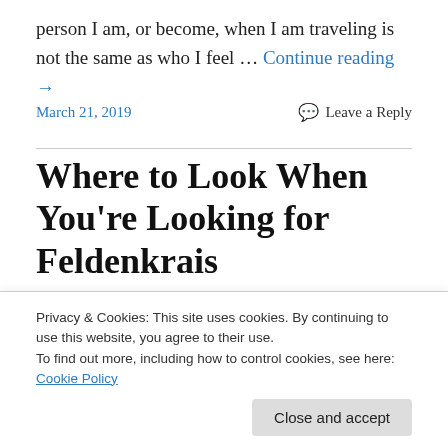person I am, or become, when I am traveling is not the same as who I feel … Continue reading →
March 21, 2019      Leave a Reply
Where to Look When You're Looking for Feldenkrais
I recently received an e-mail from a medical doctor. He'd been doing a set of recorded Feldenkrais lessons for
Privacy & Cookies: This site uses cookies. By continuing to use this website, you agree to their use. To find out more, including how to control cookies, see here: Cookie Policy